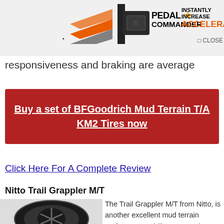[Figure (photo): Pedal Commander advertisement banner with orange arrow graphic, Pedal Commander device, star logo, and text 'INSTANTLY INCREASE ACCELERATION']
responsiveness and braking are average
Buy a set of BFGoodrich Mud Terrain T/A KM2 Tires now
Click Here For A Complete Review
Nitto Trail Grappler M/T
[Figure (photo): Black Nitto Trail Grappler M/T tire with black rim]
The Trail Grappler M/T from Nitto, is another excellent mud terrain performer. Its ability to meet the challenges posed by off road